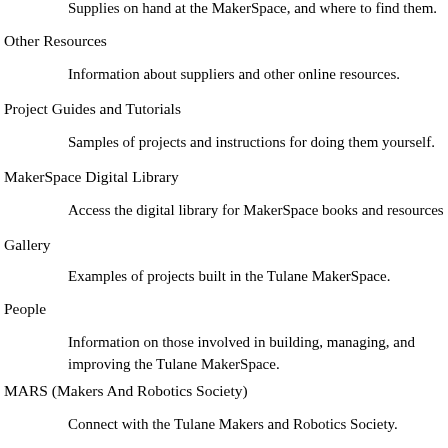Supplies on hand at the MakerSpace, and where to find them.
Other Resources
Information about suppliers and other online resources.
Project Guides and Tutorials
Samples of projects and instructions for doing them yourself.
MakerSpace Digital Library
Access the digital library for MakerSpace books and resources
Gallery
Examples of projects built in the Tulane MakerSpace.
People
Information on those involved in building, managing, and improving the Tulane MakerSpace.
MARS (Makers And Robotics Society)
Connect with the Tulane Makers and Robotics Society.